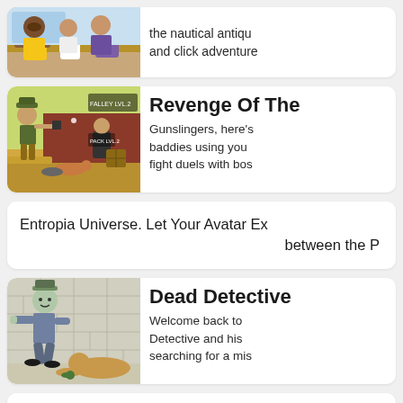[Figure (illustration): Partial top card showing animated characters at what appears to be a counter or desk scene]
the nautical antiqu... and click adventure...
[Figure (screenshot): Game screenshot showing a western-style side-scrolling shooter with cartoon characters, gunslinger fighting baddies in a desert/town setting]
Revenge Of The...
Gunslingers, here's... baddies using you... fight duels with bos...
Entropia Universe. Let Your Avatar Ex... between the P...
[Figure (illustration): Game screenshot showing a zombie detective character walking past a wall, with another character on the ground]
Dead Detective...
Welcome back to... Detective and his... searching for a mis...
Dungeon Kripe...